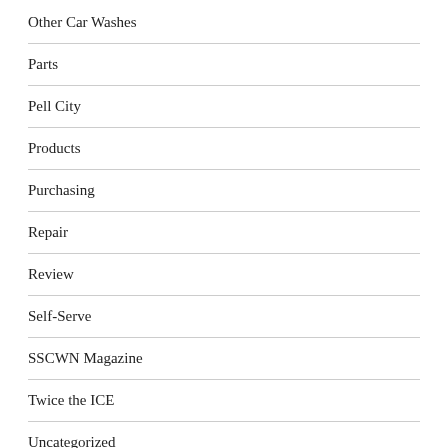Other Car Washes
Parts
Pell City
Products
Purchasing
Repair
Review
Self-Serve
SSCWN Magazine
Twice the ICE
Uncategorized